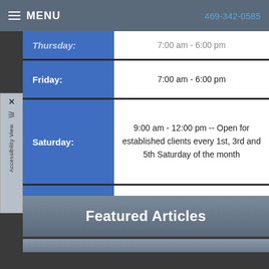MENU  469-342-0585
| Day | Hours |
| --- | --- |
| Thursday: | 7:00 am - 6:00 pm |
| Friday: | 7:00 am - 6:00 pm |
| Saturday: | 9:00 am - 12:00 pm -- Open for established clients every 1st, 3rd and 5th Saturday of the month |
| Sunday: | Closed |
Featured Articles